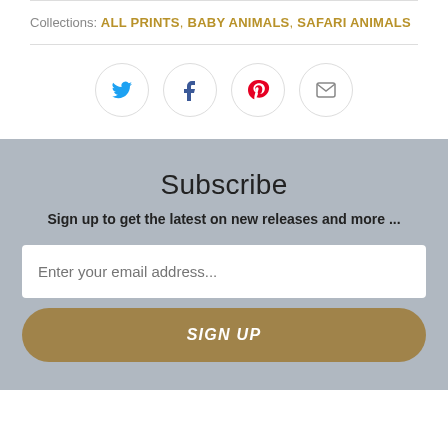Collections: ALL PRINTS, BABY ANIMALS, SAFARI ANIMALS
[Figure (infographic): Four social media sharing icons in circles: Twitter (blue bird), Facebook (dark f), Pinterest (red P), Email (envelope)]
Subscribe
Sign up to get the latest on new releases and more ...
Enter your email address...
SIGN UP